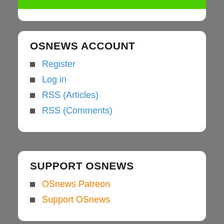OSNEWS ACCOUNT
Register
Log in
RSS (Articles)
RSS (Comments)
SUPPORT OSNEWS
OSnews Patreon
Support OSnews